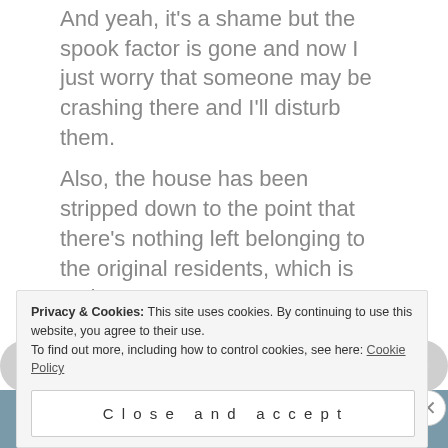And yeah, it's a shame but the spook factor is gone and now I just worry that someone may be crashing there and I'll disturb them.
Also, the house has been stripped down to the point that there's nothing left belonging to the original residents, which is sad.
↪ REPLY
🗓 NOVEMBER 27, 2008 AT 21:22
[Figure (screenshot): Left navigation arrow button (grey circle with left arrow)]
[Figure (screenshot): Right navigation arrow button (grey circle with right arrow)]
[Figure (screenshot): Blue-grey band with partial dark circle at bottom]
Privacy & Cookies: This site uses cookies. By continuing to use this website, you agree to their use. To find out more, including how to control cookies, see here: Cookie Policy
Close and accept